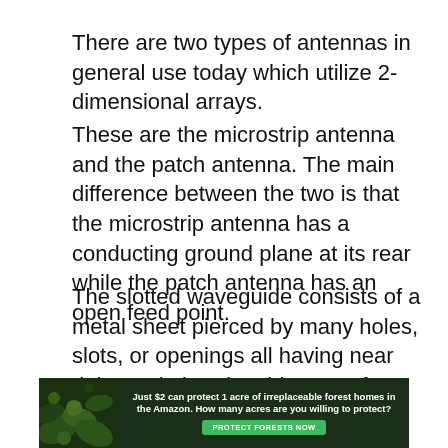There are two types of antennas in general use today which utilize 2-dimensional arrays.
These are the microstrip antenna and the patch antenna. The main difference between the two is that the microstrip antenna has a conducting ground plane at its rear while the patch antenna has an open feed point.
The slotted waveguide consists of a metal sheet pierced by many holes, slots, or openings all having near right-angle bends. This type of antenna is used as a transmitting device and reflects most of the energy off the metal back toward the ground
[Figure (infographic): Advertisement banner with dark forest background showing text: 'Just $2 can protect 1 acre of irreplaceable forest homes in the Amazon. How many acres are you willing to protect?' with a green 'PROTECT FORESTS NOW' button.]